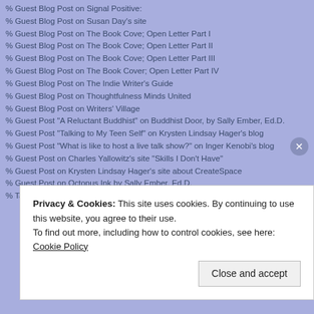% Guest Blog Post on Signal Positive:
% Guest Blog Post on Susan Day's site
% Guest Blog Post on The Book Cove; Open Letter Part I
% Guest Blog Post on The Book Cove; Open Letter Part II
% Guest Blog Post on The Book Cove; Open Letter Part III
% Guest Blog Post on The Book Cover; Open Letter Part IV
% Guest Blog Post on The Indie Writer's Guide
% Guest Blog Post on Thoughtfulness Minds United
% Guest Blog Post on Writers' Village
% Guest Post "A Reluctant Buddhist" on Buddhist Door, by Sally Ember, Ed.D.
% Guest Post "Talking to My Teen Self" on Krysten Lindsay Hager's blog
% Guest Post "What is like to host a live talk show?" on Inger Kenobi's blog
% Guest Post on Charles Yallowitz's site "Skills I Don't Have"
% Guest Post on Krysten Lindsay Hager's site about CreateSpace
% Guest Post on Octopus Ink by Sally Ember, Ed.D.
% Tales of a Reluctant Buddhist Part II on "Buddhist Door"
Privacy & Cookies: This site uses cookies. By continuing to use this website, you agree to their use. To find out more, including how to control cookies, see here: Cookie Policy
Close and accept